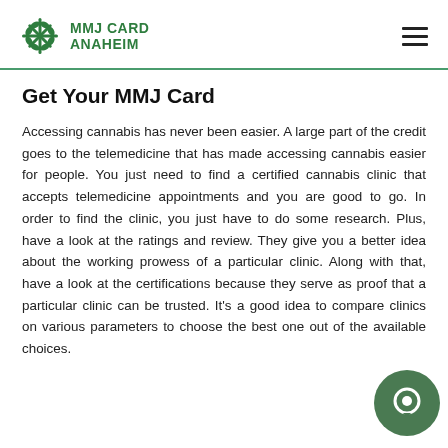MMJ CARD ANAHEIM
Get Your MMJ Card
Accessing cannabis has never been easier. A large part of the credit goes to the telemedicine that has made accessing cannabis easier for people. You just need to find a certified cannabis clinic that accepts telemedicine appointments and you are good to go. In order to find the clinic, you just have to do some research. Plus, have a look at the ratings and review. They give you a better idea about the working prowess of a particular clinic. Along with that, have a look at the certifications because they serve as proof that a particular clinic can be trusted. It's a good idea to compare clinics on various parameters to choose the best one out of the available choices.